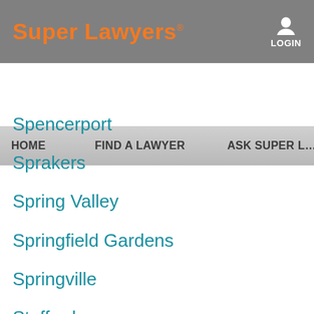Super Lawyers® | LOGIN
HOME | FIND A LAWYER | ASK SUPER L…
Spencerport
Sprakers
Spring Valley
Springfield Gardens
Springville
Stafford
Stamford